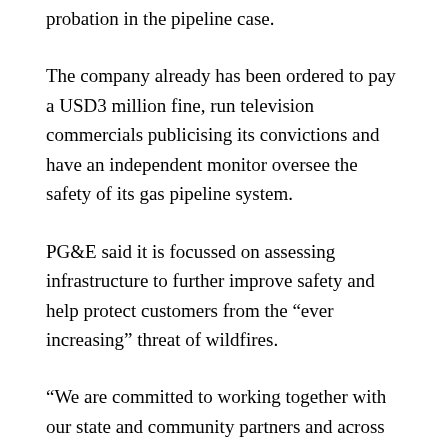probation in the pipeline case.
The company already has been ordered to pay a USD3 million fine, run television commercials publicising its convictions and have an independent monitor oversee the safety of its gas pipeline system.
PG&E said it is focussed on assessing infrastructure to further improve safety and help protect customers from the “ever increasing” threat of wildfires.
“We are committed to working together with our state and community partners and across all sectors and disciplines to develop comprehensive safety solutions that provide safe, reliable gas and electric service to our customers in the future,” the utility said in a statement.
In a court filing date Monday, it said a determination that it